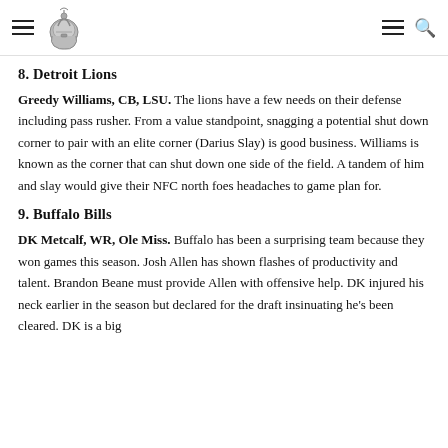[navigation header with hamburger menu, logo, hamburger menu, search icon]
8. Detroit Lions
Greedy Williams, CB, LSU. The lions have a few needs on their defense including pass rusher. From a value standpoint, snagging a potential shut down corner to pair with an elite corner (Darius Slay) is good business. Williams is known as the corner that can shut down one side of the field. A tandem of him and slay would give their NFC north foes headaches to game plan for.
9. Buffalo Bills
DK Metcalf, WR, Ole Miss. Buffalo has been a surprising team because they won games this season. Josh Allen has shown flashes of productivity and talent. Brandon Beane must provide Allen with offensive help. DK injured his neck earlier in the season but declared for the draft insinuating he's been cleared. DK is a big...